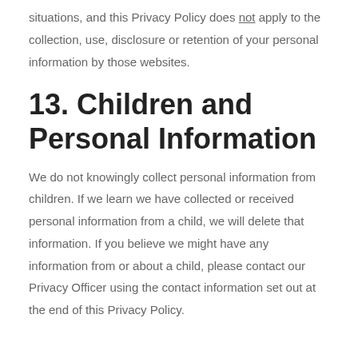situations, and this Privacy Policy does not apply to the collection, use, disclosure or retention of your personal information by those websites.
13. Children and Personal Information
We do not knowingly collect personal information from children. If we learn we have collected or received personal information from a child, we will delete that information. If you believe we might have any information from or about a child, please contact our Privacy Officer using the contact information set out at the end of this Privacy Policy.